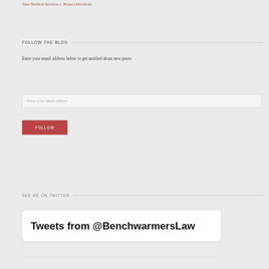June Medical Services v. Russo (Abortion)
FOLLOW THE BLOG
Enter your email address below to get notified about new posts:
Enter your email address
FOLLOW
SEE ME ON TWITTER
Tweets from @BenchwarmersLaw